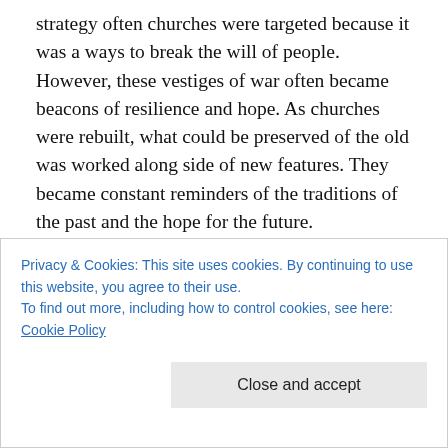strategy often churches were targeted because it was a ways to break the will of people. However, these vestiges of war often became beacons of resilience and hope. As churches were rebuilt, what could be preserved of the old was worked along side of new features. They became constant reminders of the traditions of the past and the hope for the future.

When Richard and I travel, we are always drawn to Houses of Worship – whether they are Christian or of other faiths. To us they are places of familiarity, of refuge, an opportunity to remember who and who's we are. Each
Privacy & Cookies: This site uses cookies. By continuing to use this website, you agree to their use.
To find out more, including how to control cookies, see here: Cookie Policy
Close and accept
worship. First, I try to invite a sense of reverence before